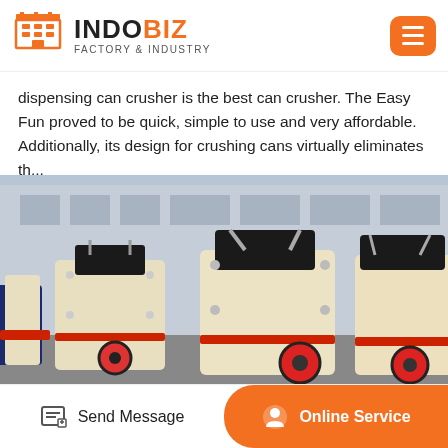INDOBIZ FACTORY & INDUSTRY
dispensing can crusher is the best can crusher. The Easy Fun proved to be quick, simple to use and very affordable. Additionally, its design for crushing cans virtually eliminates th...
[Figure (photo): Industrial impact crushers / hammer mill machines parked outdoors in front of a factory building. Three cream/beige colored heavy crushing machines with red wheel accents visible.]
Send Message | Online Service